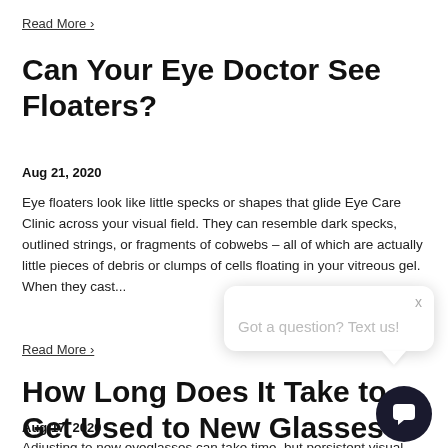Read More ›
Can Your Eye Doctor See Floaters?
Aug 21, 2020
Eye floaters look like little specks or shapes that glide Eye Care Clinic across your visual field. They can resemble dark specks, outlined strings, or fragments of cobwebs – all of which are actually little pieces of debris or clumps of cells floating in your vitreous gel. When they cast...
Read More ›
How Long Does It Take to Get Used to New Glasses?
Aug 17, 2020
Adjusting to new eyeglasses can take time, but persistent visual...